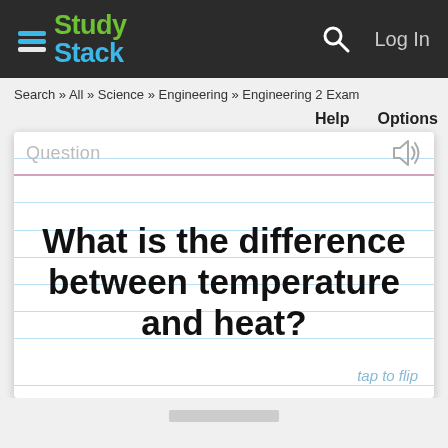StudyStack — Log In
Search » All » Science » Engineering » Engineering 2 Exam
Help   Options
[Figure (screenshot): Flashcard UI with 'Question' label and speaker icon at top, lined paper background, large bold question text centered.]
What is the difference between temperature and heat?
tap to flip